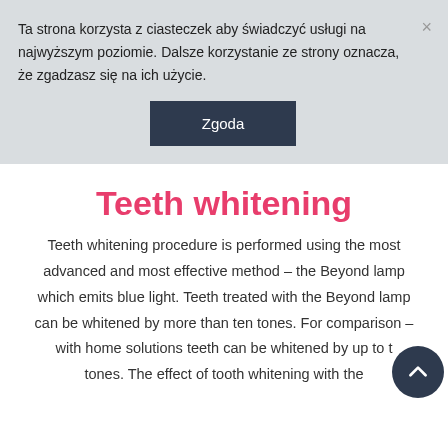Ta strona korzysta z ciasteczek aby świadczyć usługi na najwyższym poziomie. Dalsze korzystanie ze strony oznacza, że zgadzasz się na ich użycie.
Zgoda
Teeth whitening
Teeth whitening procedure is performed using the most advanced and most effective method – the Beyond lamp which emits blue light. Teeth treated with the Beyond lamp can be whitened by more than ten tones. For comparison – with home solutions teeth can be whitened by up to three tones. The effect of tooth whitening with the